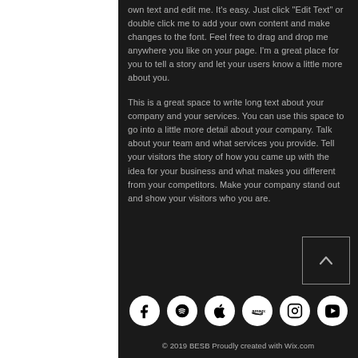own text and edit me. It's easy. Just click "Edit Text" or double click me to add your own content and make changes to the font. Feel free to drag and drop me anywhere you like on your page. I'm a great place for you to tell a story and let your users know a little more about you.
This is a great space to write long text about your company and your services. You can use this space to go into a little more detail about your company. Talk about your team and what services you provide. Tell your visitors the story of how you came up with the idea for your business and what makes you different from your competitors. Make your company stand out and show your visitors who you are.
[Figure (infographic): Row of 6 social media icon circles: Facebook, Spotify, Apple, Amazon, Instagram, YouTube]
© 2019 BESB Proudly created with Wix.com